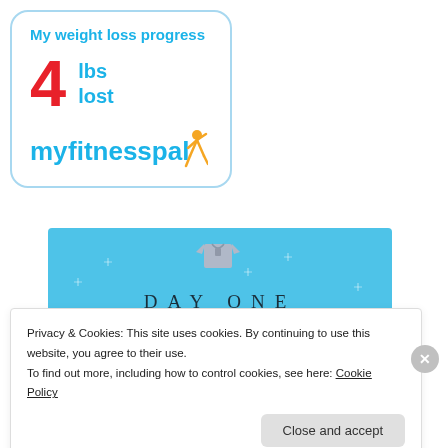[Figure (infographic): MyFitnessPal weight loss progress card showing 4 lbs lost, with the MyFitnessPal logo at the bottom]
[Figure (screenshot): Day One journaling app advertisement banner with blue background, a shirt icon, sparkle decorations, 'DAY ONE' text, and tagline 'The only journaling app you'll ever need.']
Privacy & Cookies: This site uses cookies. By continuing to use this website, you agree to their use.
To find out more, including how to control cookies, see here: Cookie Policy